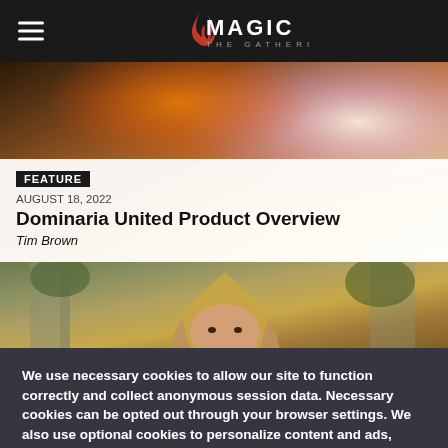MAGIC THE GATHERING
[Figure (illustration): Fantasy art background for Magic: The Gathering feature article card — fire and magical energy effects]
FEATURE
AUGUST 18, 2022
Dominaria United Product Overview
Tim Brown
[Figure (photo): A woman in a hooded fantasy costume partially visible, peeking over something, set against stone architecture with foliage]
We use necessary cookies to allow our site to function correctly and collect anonymous session data. Necessary cookies can be opted out through your browser settings. We also use optional cookies to personalize content and ads, provide social medial features and analyze web traffic. By clicking “OK, I agree,” you consent to optional cookies.
(Learn more about cookies.)
OK, I agree
No, thanks